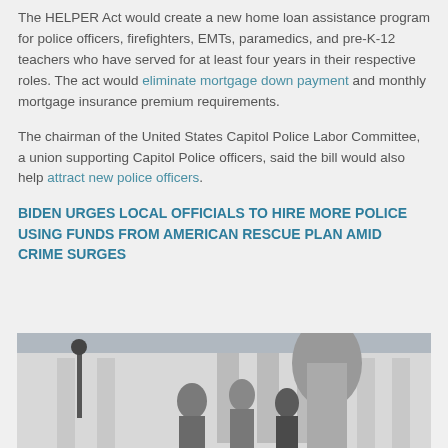The HELPER Act would create a new home loan assistance program for police officers, firefighters, EMTs, paramedics, and pre-K-12 teachers who have served for at least four years in their respective roles. The act would eliminate mortgage down payment and monthly mortgage insurance premium requirements.
The chairman of the United States Capitol Police Labor Committee, a union supporting Capitol Police officers, said the bill would also help attract new police officers.
BIDEN URGES LOCAL OFFICIALS TO HIRE MORE POLICE USING FUNDS FROM AMERICAN RESCUE PLAN AMID CRIME SURGES
[Figure (photo): Photo of people in front of a building with classical architecture (Capitol building area), showing at least two individuals]